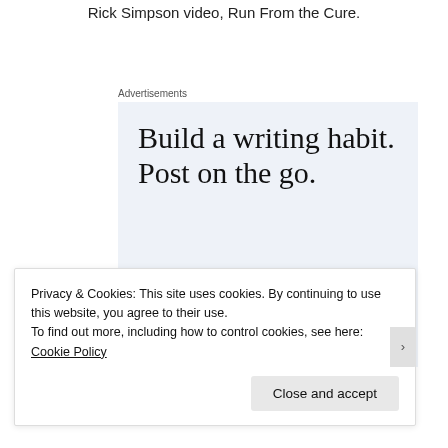Rick Simpson video, Run From the Cure.
Advertisements
[Figure (other): Advertisement banner with text 'Build a writing habit. Post on the go.' with a GET THE APP call to action and WordPress logo icon, on a light blue-grey background.]
Privacy & Cookies: This site uses cookies. By continuing to use this website, you agree to their use.
To find out more, including how to control cookies, see here: Cookie Policy